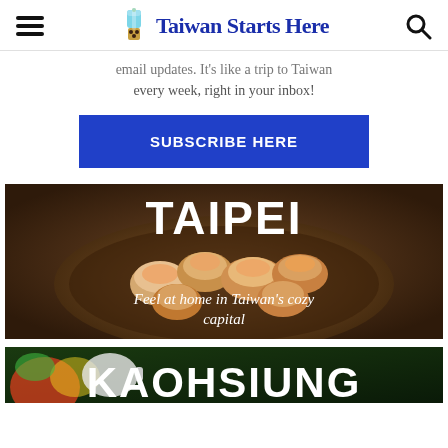Taiwan Starts Here
every week, right in your inbox!
SUBSCRIBE HERE
[Figure (photo): Photo of steamed dumplings in a bamboo steamer basket, with overlay text: TAIPEI / Feel at home in Taiwan's cozy capital]
[Figure (photo): Partial photo with colorful decoration, with overlay text: KAOHSIUNG (partially visible)]